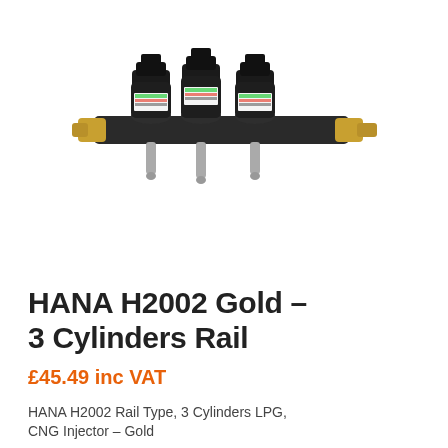[Figure (photo): A HANA H2002 Gold 3-cylinder LPG/CNG injector rail assembly. Three black cylindrical solenoid injectors mounted on a horizontal rail with gold/brass fittings on each end and silver metal nozzle tips pointing downward. Each injector has a small white label with colored text.]
HANA H2002 Gold – 3 Cylinders Rail
£45.49 inc VAT
HANA H2002 Rail Type, 3 Cylinders LPG, CNG Injector – Gold